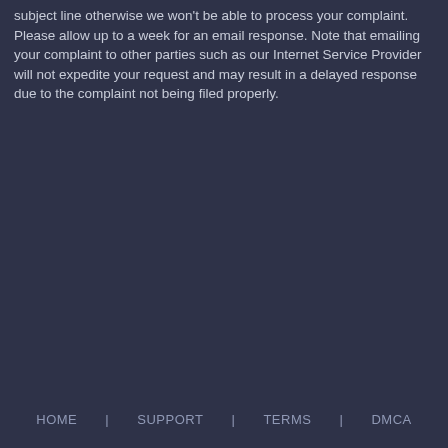subject line otherwise we won't be able to process your complaint. Please allow up to a week for an email response. Note that emailing your complaint to other parties such as our Internet Service Provider will not expedite your request and may result in a delayed response due to the complaint not being filed properly.
HOME | SUPPORT | TERMS | DMCA